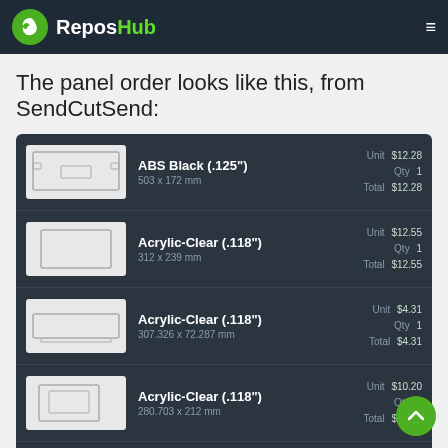ReposHub
The panel order looks like this, from SendCutSend:
| Thumbnail | Name / Dimensions | Unit | Qty | Total |
| --- | --- | --- | --- | --- |
|  | ABS Black (.125") / 503 x 172 mm | $12.28 | 1 | $12.28 |
|  | Acrylic-Clear (.118") / 312 x 239 mm | $12.55 | 1 | $12.55 |
|  | Acrylic-Clear (.118") / 307.326 x 72.287 mm | $4.31 | 1 | $4.31 |
|  | Acrylic-Clear (.118") / 280.703 x 212 mm | $10.20 | 1 | $10.20 |
|  | ABS Black (.125") / 307.326 x 72.587 mm | $6.03 | 1 | $6.03 |
|  | ABS Black (.125") / 330 x 170 mm | $15.17 | 1 | $15.17 |